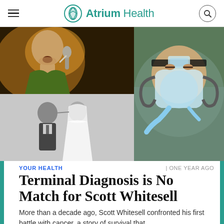Atrium Health
[Figure (photo): Collage of three photos: top-left shows a bald man singing into a microphone on stage with warm stage lighting; bottom-left shows a black-and-white wedding photo of a couple; right side shows a large photo of a bald man lying in a hospital bed wearing a full-face breathing/oxygen mask with medical tubing.]
YOUR HEALTH | ONE YEAR AGO
Terminal Diagnosis is No Match for Scott Whitesell
More than a decade ago, Scott Whitesell confronted his first battle with cancer, a story of survival that...